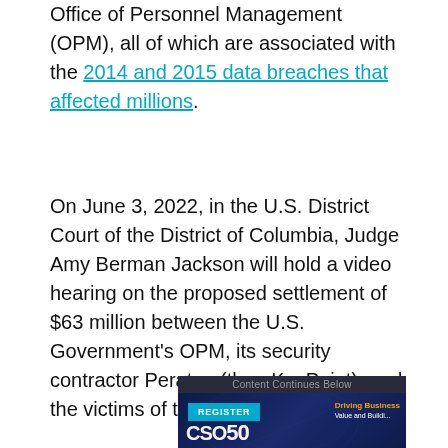Office of Personnel Management (OPM), all of which are associated with the 2014 and 2015 data breaches that affected millions.
On June 3, 2022, in the U.S. District Court of the District of Columbia, Judge Amy Berman Jackson will hold a video hearing on the proposed settlement of $63 million between the U.S. Government's OPM, its security contractor Peraton (then KeyPoint), and the victims of the OPM data breaches.
[Figure (screenshot): Advertisement banner for CSO50 event with a 'Register' button in cyan, dark blue background with light streaks, 'CSO50' large white text, 'Driving Business Value and Building...' text in orange/yellow, and 'Content Continues Below' label at top.]